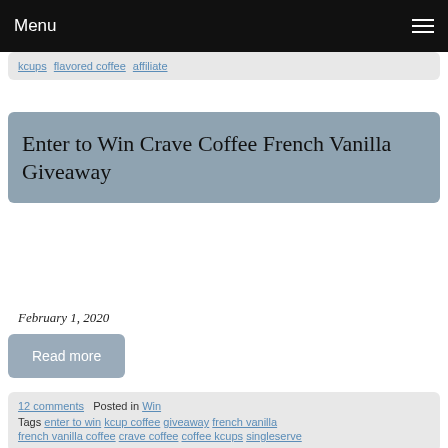Menu
kcups flavored coffee affiliate
Enter to Win Crave Coffee French Vanilla Giveaway
February 1, 2020
Read more
12 comments   Posted in Win   Tags enter to win kcup coffee giveaway french vanilla french vanilla coffee crave coffee coffee kcups singleserve